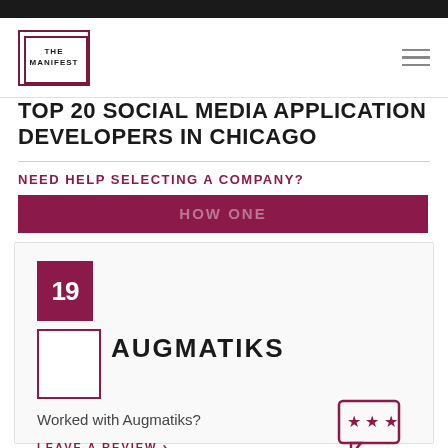THE MANIFEST
TOP 20 SOCIAL MEDIA APPLICATION DEVELOPERS IN CHICAGO
NEED HELP SELECTING A COMPANY?
[Figure (other): Dark red CTA button partially visible]
19
[Figure (logo): Augmatiks company logo placeholder box]
AUGMATIKS
Worked with Augmatiks?
LEAVE A REVIEW >